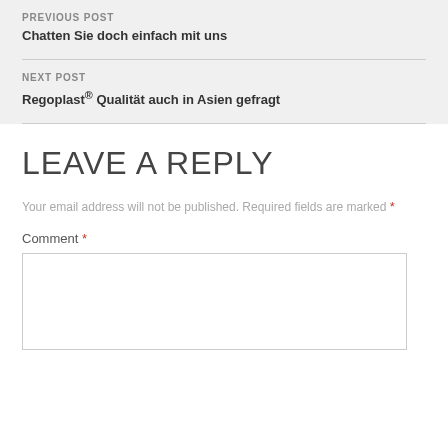PREVIOUS POST
Chatten Sie doch einfach mit uns
NEXT POST
Regoplast® Qualität auch in Asien gefragt
LEAVE A REPLY
Your email address will not be published. Required fields are marked *
Comment *